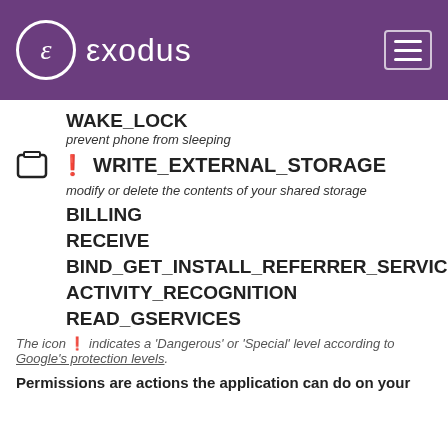exodus
WAKE_LOCK
prev phone from sleeping
WRITE_EXTERNAL_STORAGE
modify or delete the contents of your shared storage
BILLING
RECEIVE
BIND_GET_INSTALL_REFERRER_SERVICE
ACTIVITY_RECOGNITION
READ_GSERVICES
The icon ❗ indicates a 'Dangerous' or 'Special' level according to Google's protection levels.
Permissions are actions the application can do on your